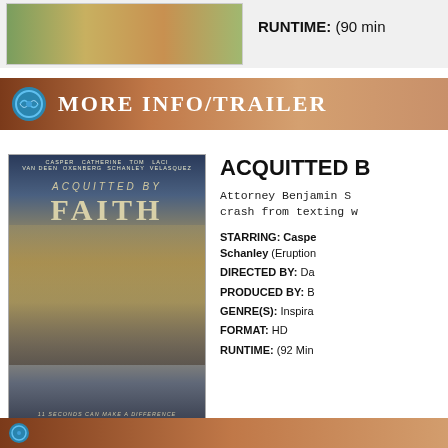[Figure (photo): Movie/show promotional image strip at top, with holiday greenery and characters visible]
RUNTIME: (90 min
More Info/Trailer
[Figure (photo): Movie poster for 'Acquitted by Faith' featuring Casper Van Dien, Catherine Oxenberg, Tom Schanley, Laci Velasquez. Shows two adults and children in front of a courthouse. Tagline: 11 SECONDS CAN MAKE A DIFFERENCE]
ACQUITTED B
Attorney Benjamin S crash from texting w
STARRING: Casper Schanley (Eruption
DIRECTED BY: Da
PRODUCED BY: B
GENRE(S): Inspira
FORMAT: HD
RUNTIME: (92 Min